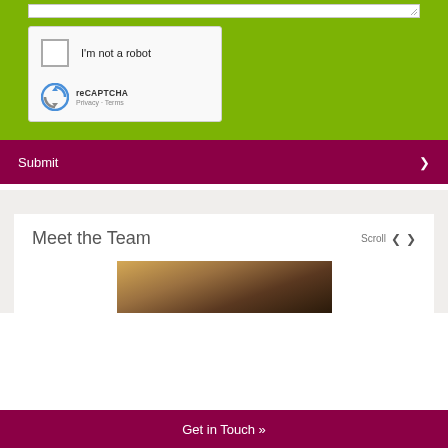[Figure (screenshot): reCAPTCHA widget on a green background form section. Shows a checkbox with 'I'm not a robot' text, reCAPTCHA logo, and Privacy/Terms links.]
Submit
Meet the Team
Scroll
[Figure (photo): Partial photo of a person, warm toned, brown/golden colors, cropped at bottom of page.]
Get in Touch »